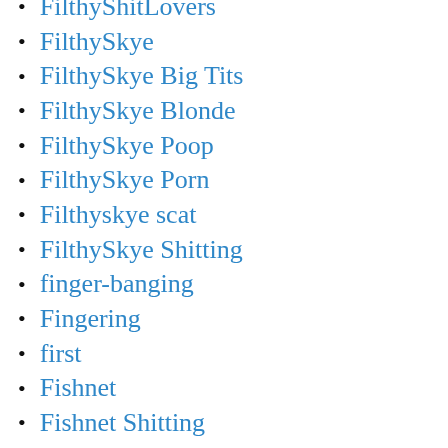FilthyShitLovers
FilthySkye
FilthySkye Big Tits
FilthySkye Blonde
FilthySkye Poop
FilthySkye Porn
Filthyskye scat
FilthySkye Shitting
finger-banging
Fingering
first
Fishnet
Fishnet Shitting
fisting
Flexible Girl
Food